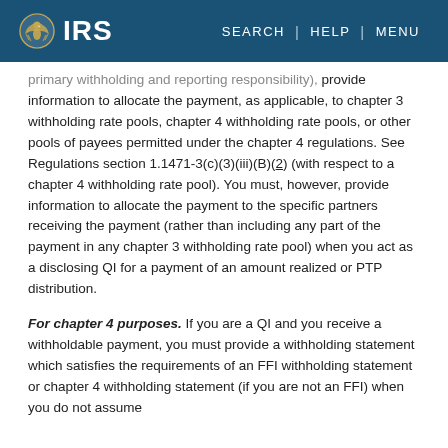IRS | SEARCH | HELP | MENU
primary withholding and reporting responsibility), provide information to allocate the payment, as applicable, to chapter 3 withholding rate pools, chapter 4 withholding rate pools, or other pools of payees permitted under the chapter 4 regulations. See Regulations section 1.1471-3(c)(3)(iii)(B)(2) (with respect to a chapter 4 withholding rate pool). You must, however, provide information to allocate the payment to the specific partners receiving the payment (rather than including any part of the payment in any chapter 3 withholding rate pool) when you act as a disclosing QI for a payment of an amount realized or PTP distribution.
For chapter 4 purposes. If you are a QI and you receive a withholdable payment, you must provide a withholding statement which satisfies the requirements of an FFI withholding statement or chapter 4 withholding statement (if you are not an FFI) when you do not assume